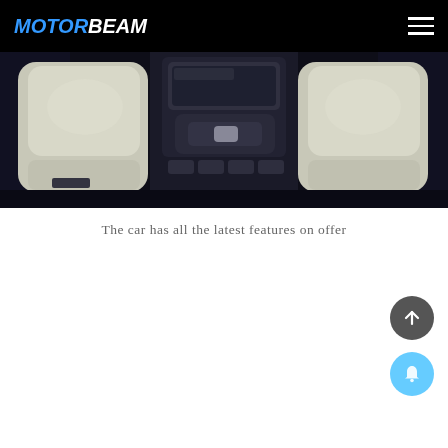MOTORBEAM
[Figure (photo): Car interior showing white leather seats, center console with gear shifter, and dashboard controls viewed from rear]
The car has all the latest features on offer